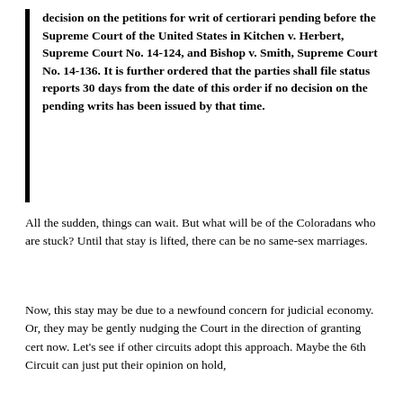decision on the petitions for writ of certiorari pending before the Supreme Court of the United States in Kitchen v. Herbert, Supreme Court No. 14-124, and Bishop v. Smith, Supreme Court No. 14-136. It is further ordered that the parties shall file status reports 30 days from the date of this order if no decision on the pending writs has been issued by that time.
All the sudden, things can wait. But what will be of the Coloradans who are stuck? Until that stay is lifted, there can be no same-sex marriages.
Now, this stay may be due to a newfound concern for judicial economy. Or, they may be gently nudging the Court in the direction of granting cert now. Let’s see if other circuits adopt this approach. Maybe the 6th Circuit can just put their opinion on hold,